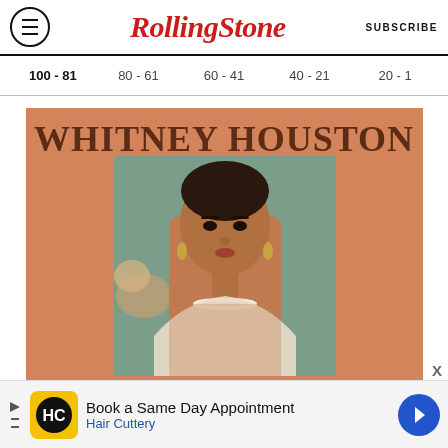RollingStone — SUBSCRIBE
100 - 81  80 - 61  60 - 41  40 - 21  20 - 1
[Figure (photo): Whitney Houston album cover art on orange background with large text 'WHITNEY HOUSTON' and a portrait photo of Whitney Houston wearing a pearl necklace and white dress against a floral background]
[Figure (infographic): Advertisement banner: Book a Same Day Appointment - Hair Cuttery, with HC logo in yellow square and blue directional arrow icon]